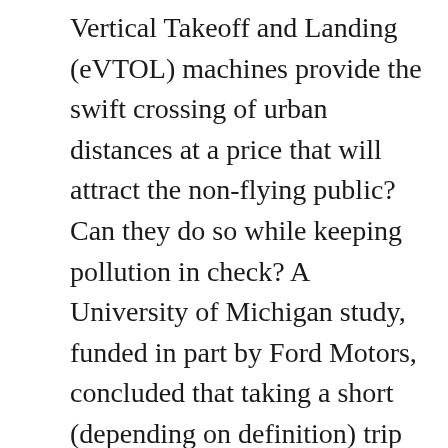Vertical Takeoff and Landing (eVTOL) machines provide the swift crossing of urban distances at a price that will attract the non-flying public? Can they do so while keeping pollution in check? A University of Michigan study, funded in part by Ford Motors, concluded that taking a short (depending on definition) trip in an autonomous electric vertical takeoff and landing machine might not only be quicker than a ground-bound journey through gridlock, but might even be less expensive.  These two factors are important if we are clean  the toxic atmosphere that hangs over our major cities, at least partly brought about by the constant transit of personal automobiles